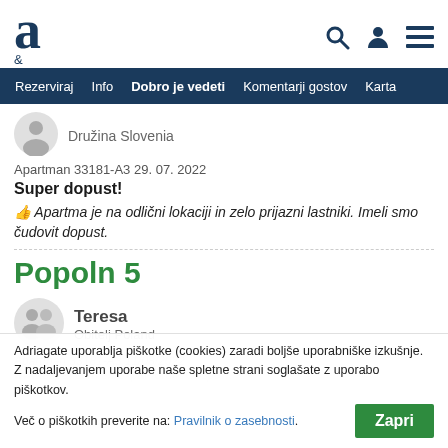a - logo header with search, user, and menu icons
Rezerviraj | Info | Dobro je vedeti | Komentarji gostov | Karta
[Figure (illustration): Small grey avatar silhouette icon]
Družina Slovenia
Apartman 33181-A3 29. 07. 2022
Super dopust!
👍 Apartma je na odlični lokaciji in zelo prijazni lastniki. Imeli smo čudovit dopust.
Popoln 5
[Figure (illustration): Larger grey avatar/group silhouette icon]
Teresa
Obitelj Poland
Adriagate uporablja piškotke (cookies) zaradi boljše uporabniške izkušnje. Z nadaljevanjem uporabe naše spletne strani soglašate z uporabo piškotkov.
Več o piškotkih preverite na: Pravilnik o zasebnosti.